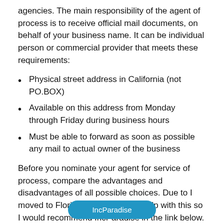agencies. The main responsibility of the agent of process is to receive official mail documents, on behalf of your business name. It can be individual person or commercial provider that meets these requirements:
Physical street address in California (not PO.BOX)
Available on this address from Monday through Friday during business hours
Must be able to forward as soon as possible any mail to actual owner of the business
Before you nominate your agent for service of process, compare the advantages and disadvantages of all possible choices. Due to I moved to Florida I no longer can help with this so I would recommend IncParadise in the link below. I am their client in Wyoming for years.